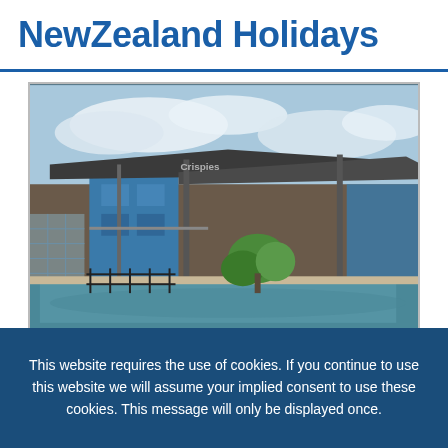NewZealand Holidays
[Figure (photo): Exterior photo of Aspect Central hotel in Cairns, showing a modern building with metal roof overhangs, blue facade, a swimming pool in the foreground, and tropical plants]
Cairns
Aspect Central
★★★
This website requires the use of cookies. If you continue to use this website we will assume your implied consent to use these cookies. This message will only be displayed once.